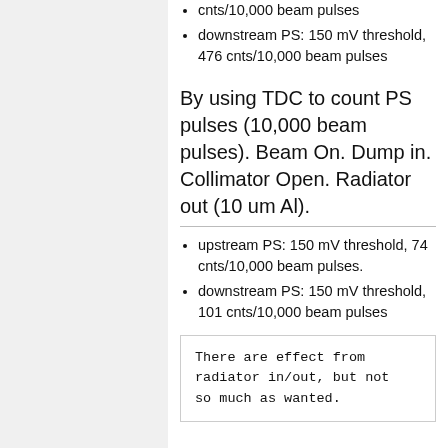cnts/10,000 beam pulses
downstream PS: 150 mV threshold, 476 cnts/10,000 beam pulses
By using TDC to count PS pulses (10,000 beam pulses). Beam On. Dump in. Collimator Open. Radiator out (10 um Al).
upstream PS: 150 mV threshold, 74 cnts/10,000 beam pulses.
downstream PS: 150 mV threshold, 101 cnts/10,000 beam pulses
There are effect from radiator in/out, but not so much as wanted.